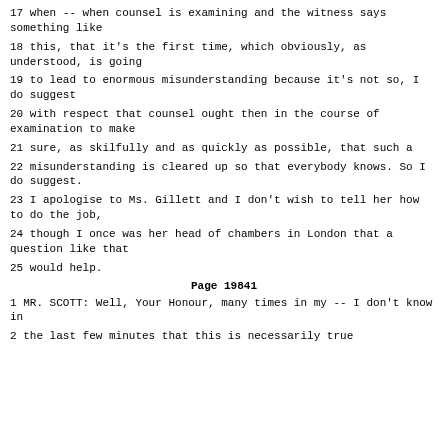17 when -- when counsel is examining and the witness says something like
18 this, that it's the first time, which obviously, as understood, is going
19 to lead to enormous misunderstanding because it's not so, I do suggest
20 with respect that counsel ought then in the course of examination to make
21 sure, as skilfully and as quickly as possible, that such a
22 misunderstanding is cleared up so that everybody knows. So I do suggest.
23 I apologise to Ms. Gillett and I don't wish to tell her how to do the job,
24 though I once was her head of chambers in London that a question like that
25 would help.
Page 19841
1 MR. SCOTT: Well, Your Honour, many times in my -- I don't know in
2 the last few minutes that this is necessarily true